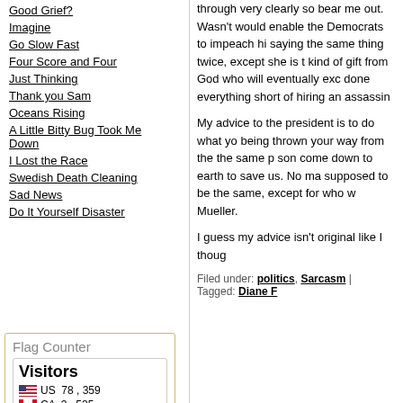Good Grief?
Imagine
Go Slow Fast
Four Score and Four
Just Thinking
Thank you Sam
Oceans Rising
A Little Bitty Bug Took Me Down
I Lost the Race
Swedish Death Cleaning
Sad News
Do It Yourself Disaster
through very clearly so bear me out. Wasn't would enable the Democrats to impeach hi saying the same thing twice, except she is kind of gift from God who will eventually ex done everything short of hiring an assassin
My advice to the president is to do what yo being thrown your way from the the same p son come down to earth to save us. No ma supposed to be the same, except for who w Mueller.
I guess my advice isn't original like I thoug
Filed under: politics, Sarcasm | Tagged: Diane R
[Figure (infographic): Flag Counter widget showing visitor statistics. Title: Flag Counter. Visitors box showing US 78,359 and CA 3,535]